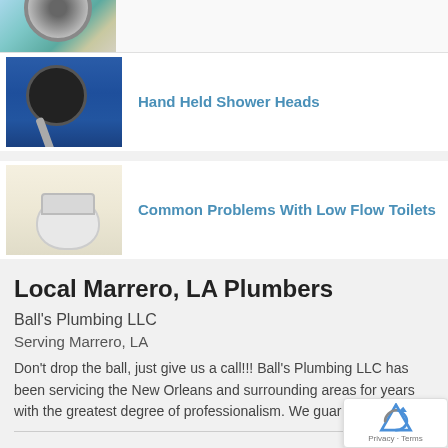[Figure (photo): Partial top image: drain/water fixture close-up, cropped at top]
[Figure (photo): Hand held shower head mounted on blue tiled wall]
Hand Held Shower Heads
[Figure (photo): White low flow toilet in a bathroom]
Common Problems With Low Flow Toilets
Local Marrero, LA Plumbers
Ball's Plumbing LLC
Serving Marrero, LA
Don't drop the ball, just give us a call!!! Ball's Plumbing LLC has been servicing the New Orleans and surrounding areas for years with the greatest degree of professionalism. We guar